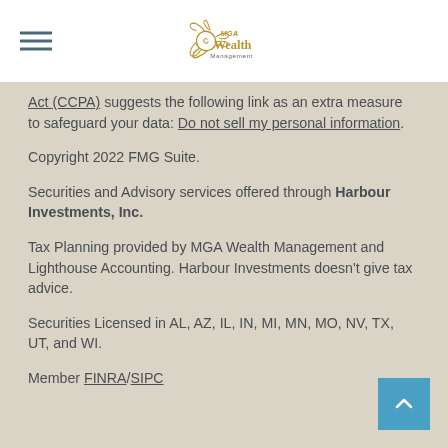MGA Wealth Management
Act (CCPA) suggests the following link as an extra measure to safeguard your data: Do not sell my personal information.
Copyright 2022 FMG Suite.
Securities and Advisory services offered through Harbour Investments, Inc.
Tax Planning provided by MGA Wealth Management and Lighthouse Accounting. Harbour Investments doesn't give tax advice.
Securities Licensed in AL, AZ, IL, IN, MI, MN, MO, NV, TX, UT, and WI.
Member FINRA/SIPC